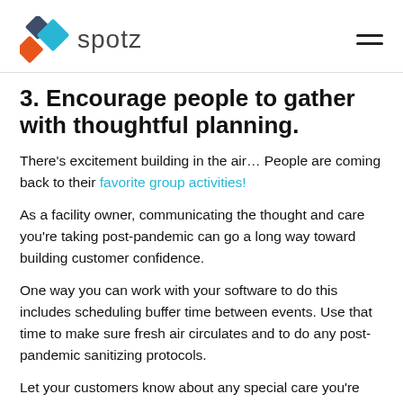spotz
3. Encourage people to gather with thoughtful planning.
There’s excitement building in the air… People are coming back to their favorite group activities!
As a facility owner, communicating the thought and care you’re taking post-pandemic can go a long way toward building customer confidence.
One way you can work with your software to do this includes scheduling buffer time between events. Use that time to make sure fresh air circulates and to do any post-pandemic sanitizing protocols.
Let your customers know about any special care you’re taking between events. For instance, you might